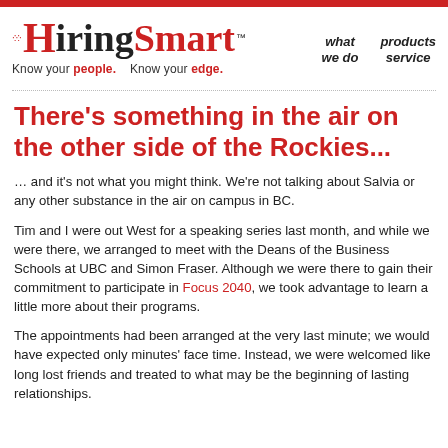[Figure (logo): HiringSmart logo with red H, black 'iring' and red 'Smart' text, tagline 'Know your people. Know your edge.']
what we do    products services
There's something in the air on the other side of the Rockies...
… and it's not what you might think. We're not talking about Salvia or any other substance in the air on campus in BC.
Tim and I were out West for a speaking series last month, and while we were there we arranged to meet with the Deans of the Business Schools at UBC and Simon Fraser. Although we were there to gain their commitment to participate in Focus 2040, we took advantage to learn a little more about their programs.
The appointments had been arranged at the very last minute; we would have expected only minutes' face time. Instead, we were welcomed like long lost friends and treated to what may be the beginning of lasting relationships.